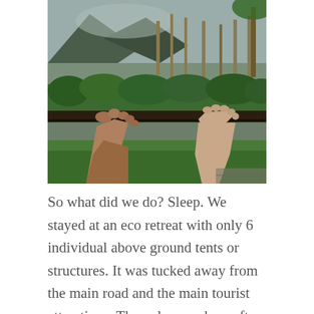[Figure (photo): Photo of two people's bare feet resting on a wooden deck railing, overlooking a lush tropical garden with green hedges, tall palm and banana trees, a mountain shrouded in clouds in the background, and a green lawn below.]
So what did we do? Sleep. We stayed at an eco retreat with only 6 individual above ground tents or structures. It was tucked away from the main road and the main tourist attractions. The only sound we often heard were birds, roosters, and the rain. The first night we slept